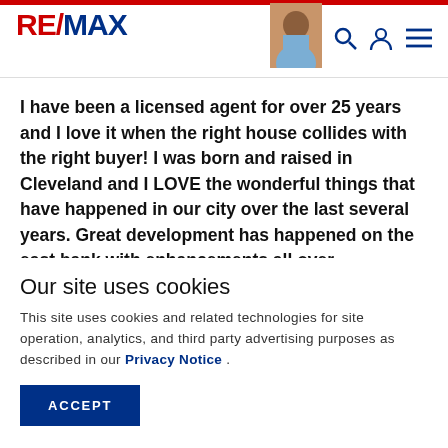RE/MAX
I have been a licensed agent for over 25 years and I love it when the right house collides with the right buyer! I was born and raised in Cleveland and I LOVE the wonderful things that have happened in our city over the last several years. Great development has happened on the east bank with enhancements all over downtown. Play house Square is the 2nd largest theater district in the country! Our sports teams have had some great
Our site uses cookies
This site uses cookies and related technologies for site operation, analytics, and third party advertising purposes as described in our Privacy Notice .
ACCEPT